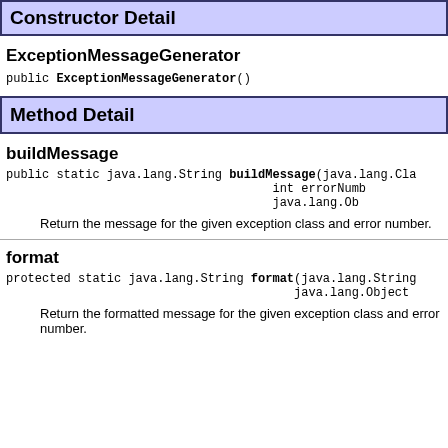Constructor Detail
ExceptionMessageGenerator
public ExceptionMessageGenerator()
Method Detail
buildMessage
public static java.lang.String buildMessage(java.lang.Cla
                                             int errorNumb
                                             java.lang.Ob
Return the message for the given exception class and error number.
format
protected static java.lang.String format(java.lang.String
                                          java.lang.Object
Return the formatted message for the given exception class and error number.